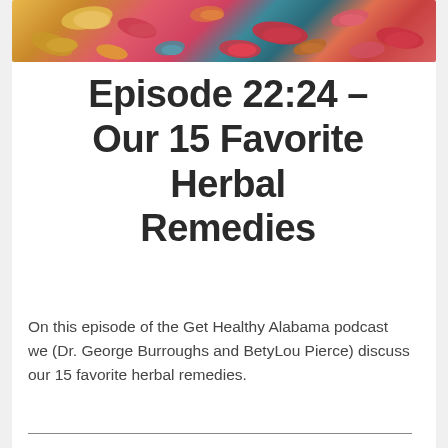[Figure (photo): Close-up photo of colorful pills and capsules — yellow, pink, red, teal, orange — scattered together against a dark background, viewed from above.]
Episode 22:24 – Our 15 Favorite Herbal Remedies
On this episode of the Get Healthy Alabama podcast we (Dr. George Burroughs and BetyLou Pierce) discuss our 15 favorite herbal remedies.